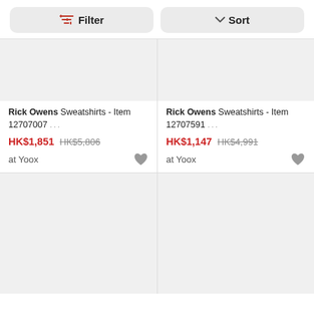Filter
Sort
[Figure (photo): Product image placeholder (light gray rectangle) for Rick Owens sweatshirt item 12707007]
Rick Owens Sweatshirts - Item 12707007 ...
HK$1,851 HK$5,806
at Yoox
[Figure (photo): Product image placeholder (light gray rectangle) for Rick Owens sweatshirt item 12707591]
Rick Owens Sweatshirts - Item 12707591 ...
HK$1,147 HK$4,991
at Yoox
[Figure (photo): Product image placeholder (light gray rectangle) bottom left]
[Figure (photo): Product image placeholder (light gray rectangle) bottom right]